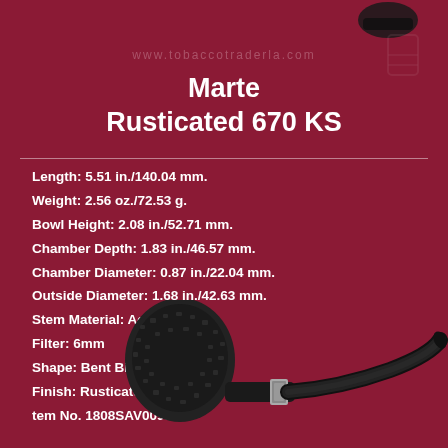www.tobaccotraderla.com
Marte Rusticated 670 KS
Length: 5.51 in./140.04 mm.
Weight: 2.56 oz./72.53 g.
Bowl Height: 2.08 in./52.71 mm.
Chamber Depth: 1.83 in./46.57 mm.
Chamber Diameter: 0.87 in./22.04 mm.
Outside Diameter: 1.68 in./42.63 mm.
Stem Material: Acrylic
Filter: 6mm
Shape: Bent Billiard
Finish: Rusticated
tem No. 1808SAV0095
[Figure (photo): A black rusticated bent billiard tobacco pipe with acrylic stem and silver band ring, displayed at bottom of page against dark red background.]